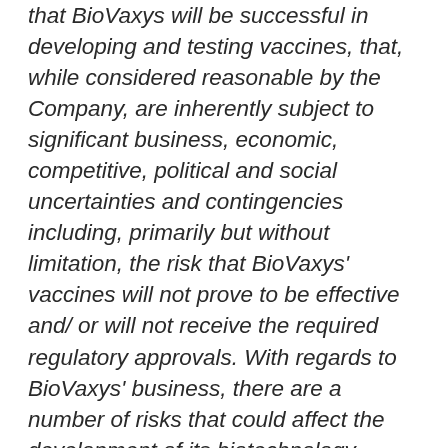that BioVaxys will be successful in developing and testing vaccines, that, while considered reasonable by the Company, are inherently subject to significant business, economic, competitive, political and social uncertainties and contingencies including, primarily but without limitation, the risk that BioVaxys' vaccines will not prove to be effective and/ or will not receive the required regulatory approvals. With regards to BioVaxys' business, there are a number of risks that could affect the development of its biotechnology products, including, without limitation, the